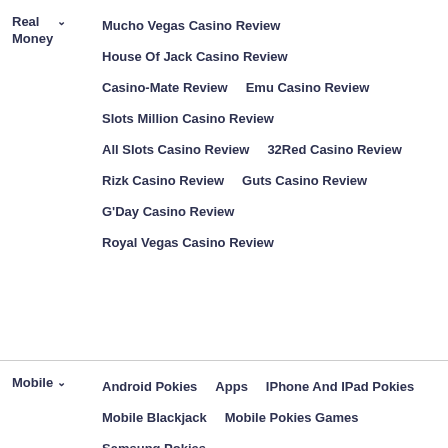Real Money
Mucho Vegas Casino Review
House Of Jack Casino Review
Casino-Mate Review
Emu Casino Review
Slots Million Casino Review
All Slots Casino Review
32Red Casino Review
Rizk Casino Review
Guts Casino Review
G’Day Casino Review
Royal Vegas Casino Review
Mobile
Android Pokies
Apps
IPhone And IPad Pokies
Mobile Blackjack
Mobile Pokies Games
Samsung Pokies